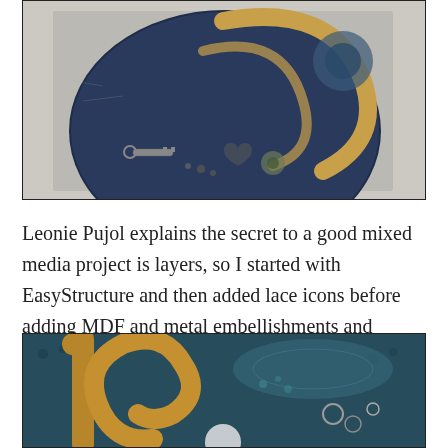[Figure (photo): Close-up photo of a mixed media decorative piece: a dark navy/blue circular object with bronze/gold swirl letters or numbers and metal embellishments including keys, flowers, and charms on a white background.]
Leonie Pujol explains the secret to a good mixed media project is layers, so I started with EasyStructure and then added lace icons before adding MDF and metal embellishments and numbers.
[Figure (photo): Close-up photo of a mixed media piece showing gold/bronze textured numbers or letters on a teal/dark blue background with lace-textured elements and small metal rings.]